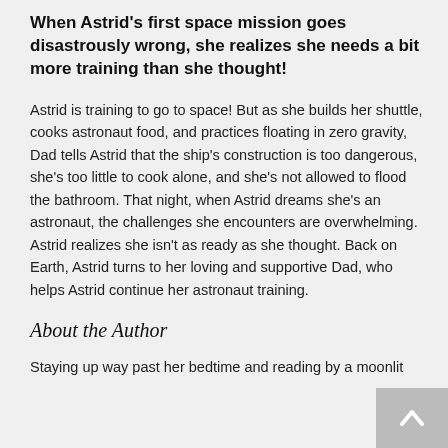When Astrid's first space mission goes disastrously wrong, she realizes she needs a bit more training than she thought!
Astrid is training to go to space! But as she builds her shuttle, cooks astronaut food, and practices floating in zero gravity, Dad tells Astrid that the ship's construction is too dangerous, she's too little to cook alone, and she's not allowed to flood the bathroom. That night, when Astrid dreams she's an astronaut, the challenges she encounters are overwhelming. Astrid realizes she isn't as ready as she thought. Back on Earth, Astrid turns to her loving and supportive Dad, who helps Astrid continue her astronaut training.
About the Author
Staying up way past her bedtime and reading by a moonlit...